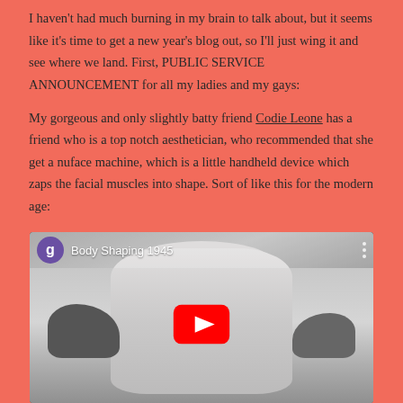I haven't had much burning in my brain to talk about, but it seems like it's time to get a new year's blog out, so I'll just wing it and see where we land. First, PUBLIC SERVICE ANNOUNCEMENT for all my ladies and my gays:
My gorgeous and only slightly batty friend Codie Leone has a friend who is a top notch aesthetician, who recommended that she get a nuface machine, which is a little handheld device which zaps the facial muscles into shape. Sort of like this for the modern age:
[Figure (screenshot): YouTube video thumbnail showing 'Body Shaping 1945' with a black and white image of a chin/neck area, a purple avatar circle with letter 'g', and a red YouTube play button in the center.]